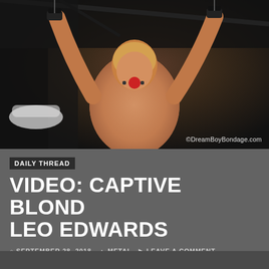[Figure (photo): A shirtless blond man with arms raised and restrained overhead with black wrist cuffs, wearing a red ball gag, in a dark room. A watermark reads ©DreamBoyBondage.com]
©DreamBoyBondage.com
DAILY THREAD
VIDEO: CAPTIVE BLOND LEO EDWARDS
SEPTEMBER 28, 2018   METAL   LEAVE A COMMENT